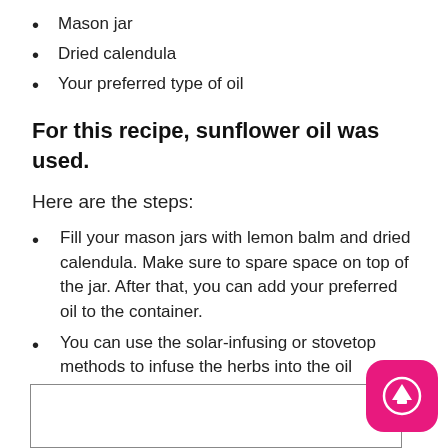Mason jar
Dried calendula
Your preferred type of oil
For this recipe, sunflower oil was used.
Here are the steps:
Fill your mason jars with lemon balm and dried calendula. Make sure to spare space on top of the jar. After that, you can add your preferred oil to the container.
You can use the solar-infusing or stovetop methods to infuse the herbs into the oil